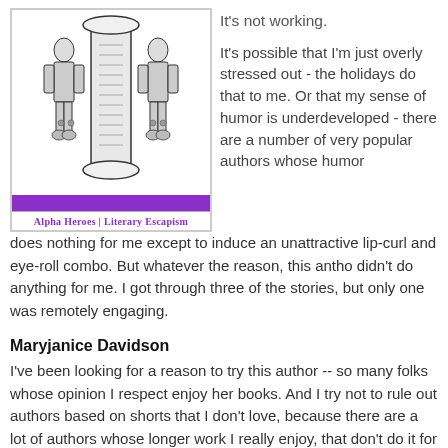[Figure (illustration): Book cover illustration showing a scroll/column with knights or warrior figures, purple background, label reading 'Alpha Heroes | Literary Escapism']
It's not working.
It's possible that I'm just overly stressed out - the holidays do that to me. Or that my sense of humor is underdeveloped - there are a number of very popular authors whose humor does nothing for me except to induce an unattractive lip-curl and eye-roll combo. But whatever the reason, this antho didn't do anything for me. I got through three of the stories, but only one was remotely engaging.
Maryjanice Davidson
I've been looking for a reason to try this author -- so many folks whose opinion I respect enjoy her books. And I try not to rule out authors based on shorts that I don't love, because there are a lot of authors whose longer work I really enjoy, that don't do it for me in short form.
Long story short, I could concede that Davidson has potential for me, but this story wasn't a reason for me to rush